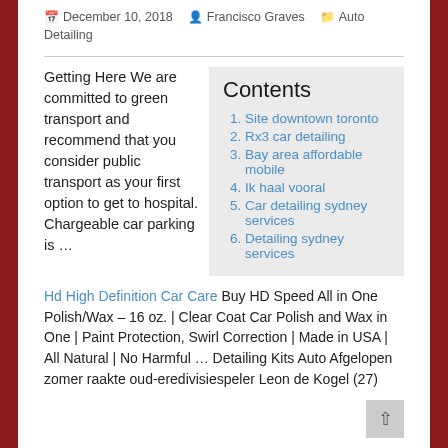December 10, 2018  Francisco Graves  Auto Detailing
Getting Here We are committed to green transport and recommend that you consider public transport as your first option to get to hospital. Chargeable car parking is …
| Contents |
| --- |
| 1. Site downtown toronto |
| 2. Rx3 car detailing |
| 3. Bay area affordable mobile |
| 4. Ik haal vooral |
| 5. Car detailing sydney services |
| 6. Detailing sydney services |
Hd High Definition Car Care Buy HD Speed All in One Polish/Wax – 16 oz. | Clear Coat Car Polish and Wax in One | Paint Protection, Swirl Correction | Made in USA | All Natural | No Harmful … Detailing Kits Auto Afgelopen zomer raakte oud-eredivisiespeler Leon de Kogel (27)